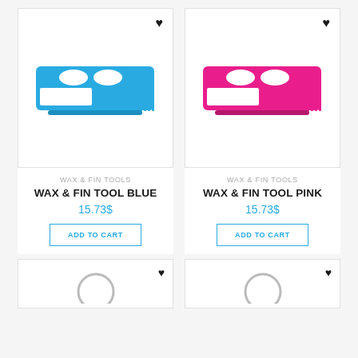[Figure (photo): Blue plastic wax and fin tool with comb edge and finger holes]
WAX & FIN TOOLS
WAX & FIN TOOL BLUE
15.73$
ADD TO CART
[Figure (photo): Pink plastic wax and fin tool with comb edge and finger holes]
WAX & FIN TOOLS
WAX & FIN TOOL PINK
15.73$
ADD TO CART
[Figure (photo): Partial view of bottom-left product card]
[Figure (photo): Partial view of bottom-right product card]